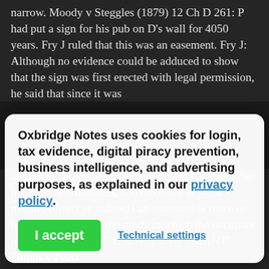narrow. Moody v Steggles (1879) 12 Ch D 261: P had put a sign for his pub on D's wall for 4050 years. Fry J ruled that this was an easement. Fry J: Although no evidence could be adduced to show that the sign was first erected with legal permission, he said that since it was
[Figure (other): Cookie consent modal dialog with bold text: 'Oxbridge Notes uses cookies for login, tax evidence, digital piracy prevention, business intelligence, and advertising purposes, as explained in our privacy policy.' with a green 'I accept' button and a 'Technical settings' link.]
argument is unrealistic: "the occupant only uses the house for the business, and therefore in some manner (direct or indirect) an easement is more or less connected with the mode in which the occupant of the house uses it." 'CAPABLE OF GRANT' Phipps v Pears